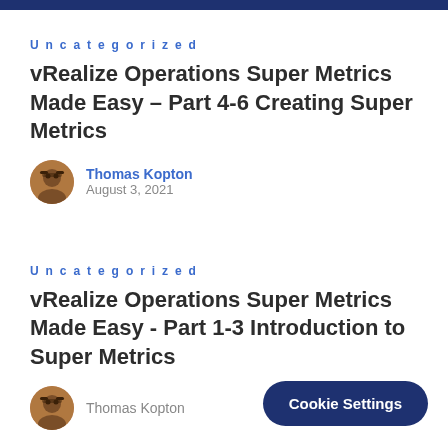Uncategorized
vRealize Operations Super Metrics Made Easy – Part 4-6 Creating Super Metrics
Thomas Kopton
August 3, 2021
Uncategorized
vRealize Operations Super Metrics Made Easy - Part 1-3 Introduction to Super Metrics
Thomas Kopton
Cookie Settings